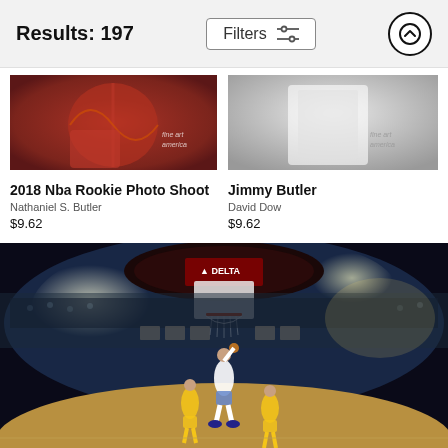Results: 197
2018 Nba Rookie Photo Shoot
Nathaniel S. Butler
$9.62
Jimmy Butler
David Dow
$9.62
[Figure (photo): Large NBA basketball game photo showing a player going up for a shot at the basket inside a packed arena (Delta Airlines sponsorship visible), taken from a wide-angle fisheye lens perspective. Players in white (Clippers) and yellow (Lakers) uniforms visible.]